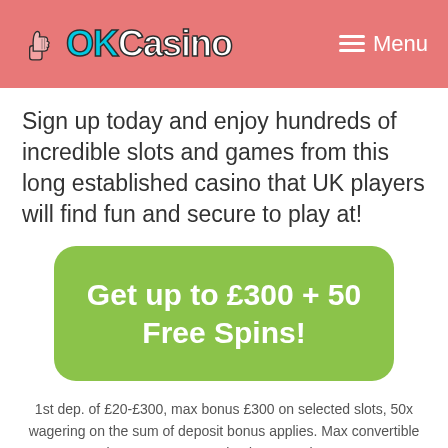OKCasino  ≡ Menu
Sign up today and enjoy hundreds of incredible slots and games from this long established casino that UK players will find fun and secure to play at!
Get up to £300 + 50 Free Spins!
1st dep. of £20-£300, max bonus £300 on selected slots, 50x wagering on the sum of deposit bonus applies. Max convertible 5x bonus amount received. Free Spins: Use